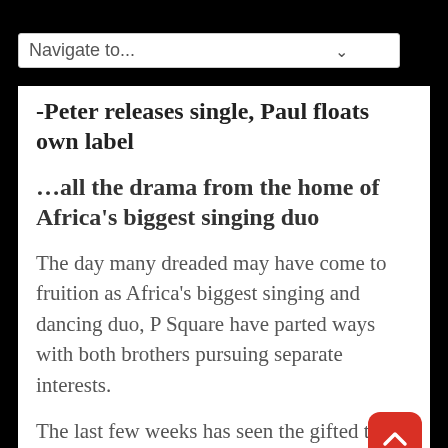Navigate to...
-Peter releases single, Paul floats own label
…all the drama from the home of Africa's biggest singing duo
The day many dreaded may have come to fruition as Africa's biggest singing and dancing duo, P Square have parted ways with both brothers pursuing separate interests.
The last few weeks has seen the gifted twin brothers in the news for all the wrong reasons, with intra-